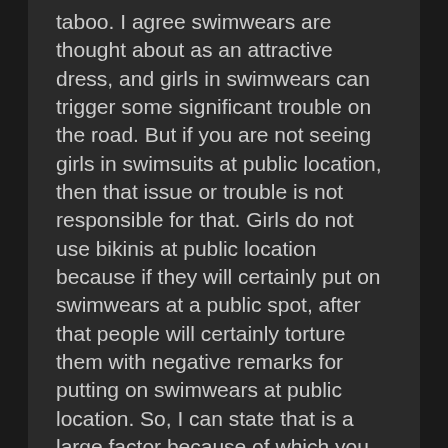taboo. I agree swimwears are thought about as an attractive dress, and girls in swimwears can trigger some significant trouble on the road. But if you are not seeing girls in swimsuits at public location, then that issue or trouble is not responsible for that. Girls do not use bikinis at public location because if they will certainly put on swimwears at a public spot, after that people will certainly torture them with negative remarks for putting on swimwears at public location. So, I can state that is a large factor because of which you do not see swimsuits at public area since wearing bikinis is a large taboo in our culture.
Facebook | Twitter | Pinterest
Search
[Figure (other): Apply to Work banner with purple/pink gradient background and white bold text]